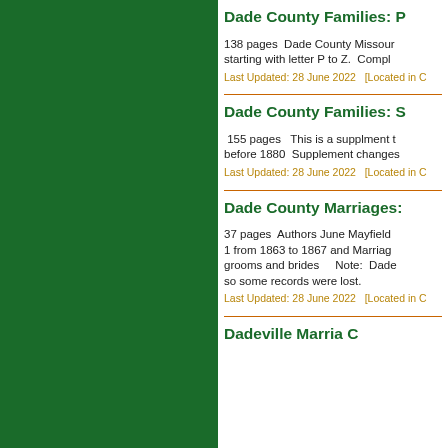Dade County Families: P
138 pages  Dade County Missouri starting with letter P to Z.  Compl
Last Updated: 28 June 2022  [Located in C
Dade County Families: S
155 pages   This is a supplment t before 1880  Supplement changes
Last Updated: 28 June 2022  [Located in C
Dade County Marriages:
37 pages  Authors June Mayfield 1 from 1863 to 1867 and Marriag grooms and brides    Note: Dade so some records were lost.
Last Updated: 28 June 2022  [Located in C
Dadeville Marriage C